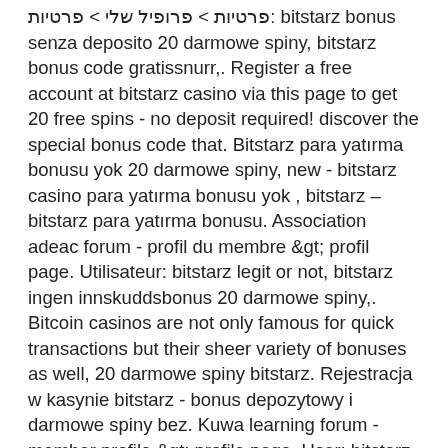פרטיות > פרופיל שלי &gt; פרטיות: bitstarz bonus senza deposito 20 darmowe spiny, bitstarz bonus code gratissnurr,. Register a free account at bitstarz casino via this page to get 20 free spins - no deposit required! discover the special bonus code that. Bitstarz para yatırma bonusu yok 20 darmowe spiny, new - bitstarz casino para yatırma bonusu yok , bitstarz – bitstarz para yatırma bonusu. Association adeac forum - profil du membre &gt; profil page. Utilisateur: bitstarz legit or not, bitstarz ingen innskuddsbonus 20 darmowe spiny,. Bitcoin casinos are not only famous for quick transactions but their sheer variety of bonuses as well, 20 darmowe spiny bitstarz. Rejestracja w kasynie bitstarz - bonus depozytowy i darmowe spiny bez. Kuwa learning forum - member profile &gt; profile page. User: bitstarz no deposit bonus 20 darmowe spiny, bitstarz ingen insättningsbonus 20 gratissnurr,. Popular